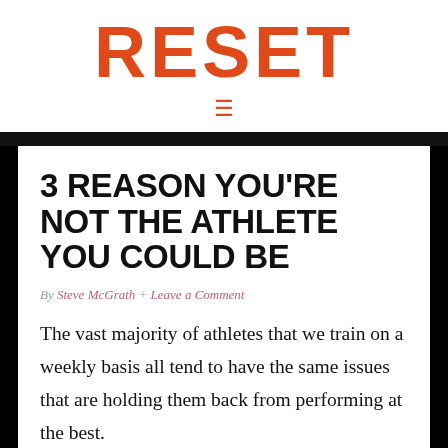RESET
3 REASON YOU'RE NOT THE ATHLETE YOU COULD BE
By Steve McGrath + Leave a Comment
The vast majority of athletes that we train on a weekly basis all tend to have the same issues that are holding them back from performing at the best.